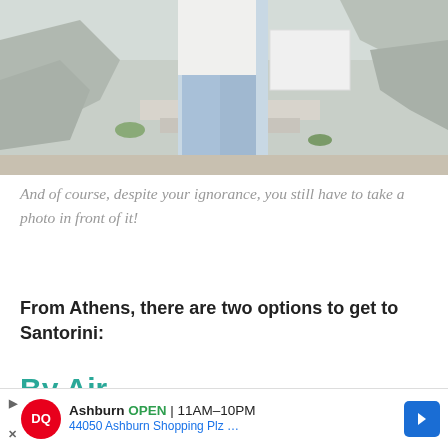[Figure (photo): Person standing in front of a rocky outdoor landmark, wearing a white top and light blue jeans. Rocky stone walls visible in background.]
And of course, despite your ignorance, you still have to take a photo in front of it!
From Athens, there are two options to get to Santorini:
By Air
Flying is the fastest and easiest – there are daily
[Figure (other): Advertisement banner: Dairy Queen (DQ) ad showing Ashburn location OPEN 11AM-10PM, 44050 Ashburn Shopping Plz ...]